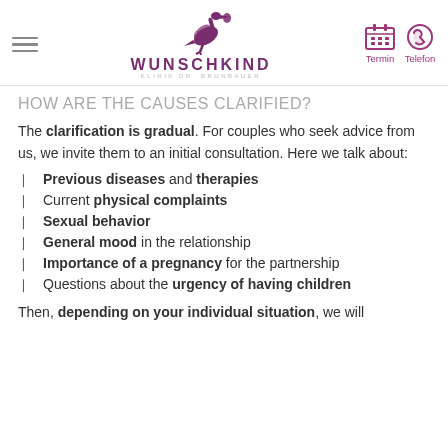WUNSCHKIND KLINIK DR. BRUNBAUER — Termin / Telefon
HOW ARE THE CAUSES CLARIFIED?
The clarification is gradual. For couples who seek advice from us, we invite them to an initial consultation. Here we talk about:
Previous diseases and therapies
Current physical complaints
Sexual behavior
General mood in the relationship
Importance of a pregnancy for the partnership
Questions about the urgency of having children
Then, depending on your individual situation, we will